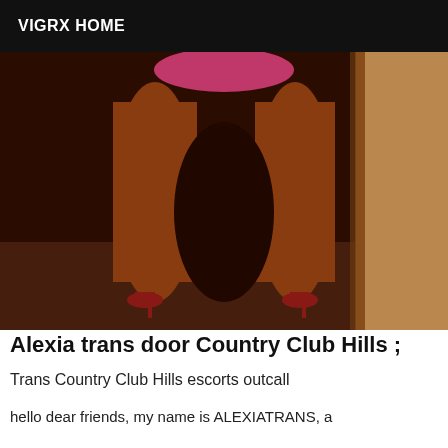VIGRX HOME
[Figure (photo): Photo showing lower body/legs of a person wearing pink attire and heels, standing in a doorway with dark and light background.]
Alexia trans door Country Club Hills ;
Trans Country Club Hills escorts outcall
hello dear friends, my name is ALEXIATRANS, a